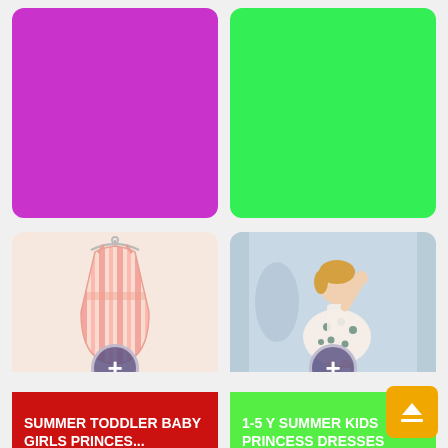[Figure (photo): Solid magenta/purple rectangle, product card image placeholder (top left, partially cropped)]
[Figure (photo): Solid bright green rectangle, product card image placeholder (top right, partially cropped)]
[Figure (photo): Striped toddler baby girls dress on hanger, pink/salmon stripes]
SUMMER TODDLER BABY GIRLS PRINCES...
US 3.75
[Figure (photo): Young toddler girl wearing a floral princess dress, light blue background]
1-5 Y SUMMER KIDS PRINCESS DRESSES GIRLS...
US 4.78